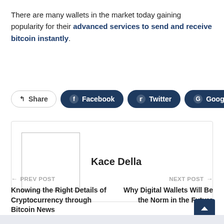There are many wallets in the market today gaining popularity for their advanced services to send and receive bitcoin instantly.
[Figure (infographic): Social share bar with Share, Facebook, Twitter, Google+, and + buttons]
[Figure (infographic): Author box with placeholder image and name Kace Della]
← PREV POST
Knowing the Right Details of Cryptocurrency through Bitcoin News
NEXT POST →
Why Digital Wallets Will Be the Norm in the Future